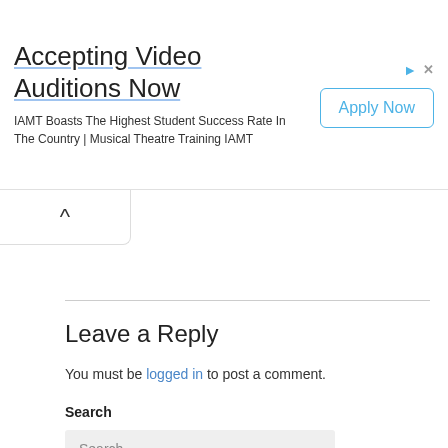[Figure (screenshot): Advertisement banner: 'Accepting Video Auditions Now' with subtitle 'IAMT Boasts The Highest Student Success Rate In The Country | Musical Theatre Training IAMT' and an 'Apply Now' button on the right.]
Leave a Reply
You must be logged in to post a comment.
Search
Search...